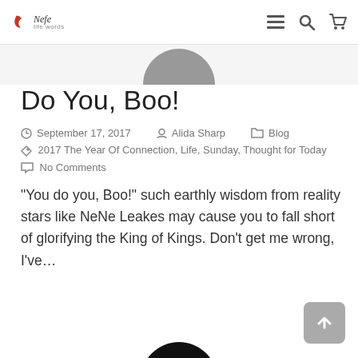Nefe Blog — navigation header with logo, menu, search, cart icons
[Figure (photo): Partially visible circular profile/author photo cropped at top]
Do You, Boo!
September 17, 2017   Alida Sharp   Blog
2017 The Year Of Connection, Life, Sunday, Thought for Today
No Comments
“You do you, Boo!” such earthly wisdom from reality stars like NeNe Leakes may cause you to fall short of glorifying the King of Kings. Don’t get me wrong, I’ve…
[Figure (photo): Partially visible circular profile/author photo cropped at bottom]